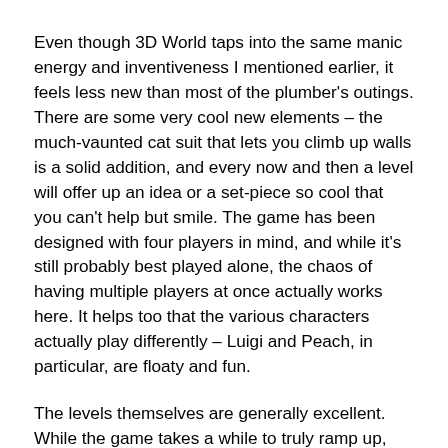Even though 3D World taps into the same manic energy and inventiveness I mentioned earlier, it feels less new than most of the plumber's outings. There are some very cool new elements – the much-vaunted cat suit that lets you climb up walls is a solid addition, and every now and then a level will offer up an idea or a set-piece so cool that you can't help but smile. The game has been designed with four players in mind, and while it's still probably best played alone, the chaos of having multiple players at once actually works here. It helps too that the various characters actually play differently – Luigi and Peach, in particular, are floaty and fun.
The levels themselves are generally excellent. While the game takes a while to truly ramp up, there are gems throughout the entire experience (there's a Mario Kart themed level in World 3 that blew my mind). Quite a few levels will feel a bit familiar if you're a series veteran though, and there's a sense that they were designed with the 3DS in mind too – it's surprisingly hard in co-op in a way that seems more exciting on a handheld.